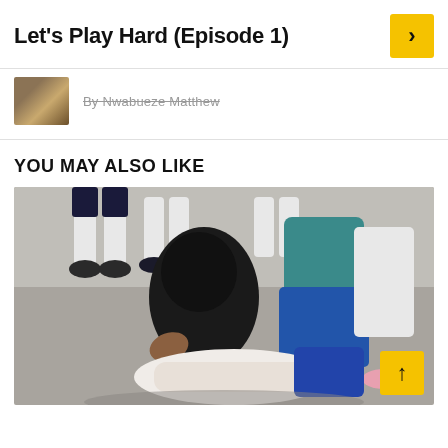Let's Play Hard (Episode 1)
By Nwabueze Matthew
YOU MAY ALSO LIKE
[Figure (photo): Street fight scene with people gathered around two individuals wrestling on the ground, one person pinning the other]